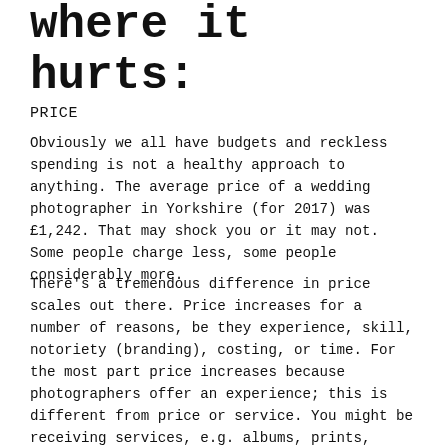where it hurts:
PRICE
Obviously we all have budgets and reckless spending is not a healthy approach to anything. The average price of a wedding photographer in Yorkshire (for 2017) was £1,242. That may shock you or it may not. Some people charge less, some people considerably more.
There’s a tremendous difference in price scales out there. Price increases for a number of reasons, be they experience, skill, notoriety (branding), costing, or time. For the most part price increases because photographers offer an experience; this is different from price or service. You might be receiving services, e.g. albums, prints, time, photos; but you want those services to be wrapped within the EXPERIENCE that a particular photographer brings. This